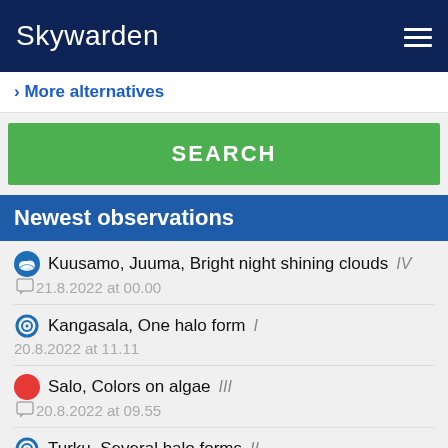Skywarden
› More alternatives
SEARCH
Newest observations
Kuusamo, Juuma, Bright night shining clouds IV — 21.8.2022 at 00.00
Kangasala, One halo form I — 20.8.2022 at 11.11
Salo, Colors on algae III — 20.8.2022 at 09.55
Turku, Several halo forms II — 20.8.2022 at 08.26
Rusko, Aurora rays III — 20.8.2022 at 03.05